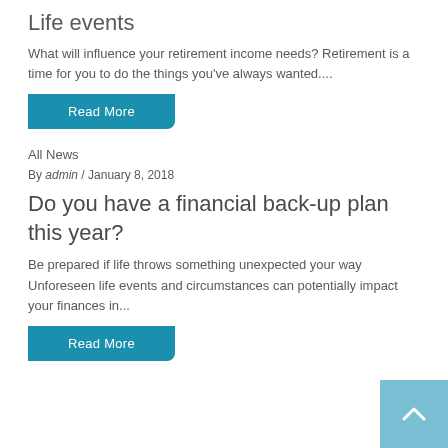Life events
What will influence your retirement income needs? Retirement is a time for you to do the things you've always wanted....
Read More
All News
By admin / January 8, 2018
Do you have a financial back-up plan this year?
Be prepared if life throws something unexpected your way Unforeseen life events and circumstances can potentially impact your finances in...
Read More